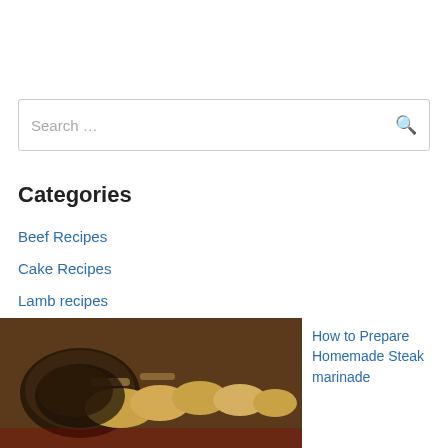Search …
Categories
Beef Recipes
Cake Recipes
Lamb recipes
Steak Recipes
Vegan Recipes
[Figure (photo): Photo of steak/meat dish with potato slices]
How to Prepare Homemade Steak marinade